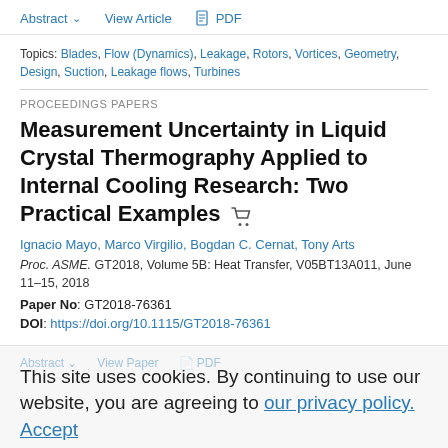Abstract  View Article  PDF
Topics: Blades, Flow (Dynamics), Leakage, Rotors, Vortices, Geometry, Design, Suction, Leakage flows, Turbines
PROCEEDINGS PAPERS
Measurement Uncertainty in Liquid Crystal Thermography Applied to Internal Cooling Research: Two Practical Examples
Ignacio Mayo, Marco Virgilio, Bogdan C. Cernat, Tony Arts
Proc. ASME. GT2018, Volume 5B: Heat Transfer, V05BT13A011, June 11–15, 2018
Paper No: GT2018-76361
DOI: https://doi.org/10.1115/GT2018-76361
This site uses cookies. By continuing to use our website, you are agreeing to our privacy policy. Accept